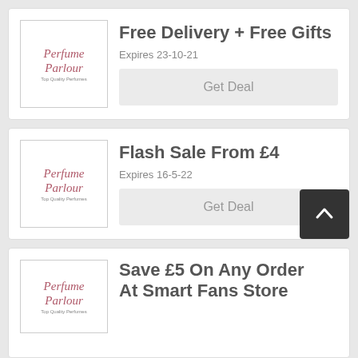[Figure (logo): Perfume Parlour logo - script text with tagline Top Quality Perfumes]
Free Delivery + Free Gifts
Expires 23-10-21
Get Deal
[Figure (logo): Perfume Parlour logo - script text with tagline Top Quality Perfumes]
Flash Sale From £4
Expires 16-5-22
Get Deal
[Figure (logo): Perfume Parlour logo partial]
Save £5 On Any Order At Smart Fans Store